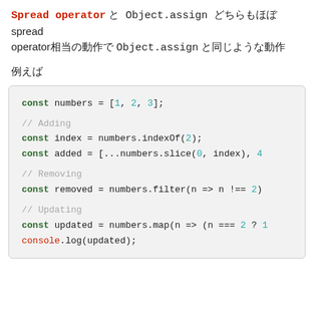Spread operator と Object.assign どちらもほぼ spread operator相当の動作で Object.assign と同じような動作
例えば
[Figure (screenshot): Code block showing JavaScript array operations using spread operator: const numbers = [1, 2, 3]; // Adding: const index = numbers.indexOf(2); const added = [...numbers.slice(0, index), 4...; // Removing: const removed = numbers.filter(n => n !== 2)...; // Updating: const updated = numbers.map(n => (n === 2 ? ...; console.log(updated);]